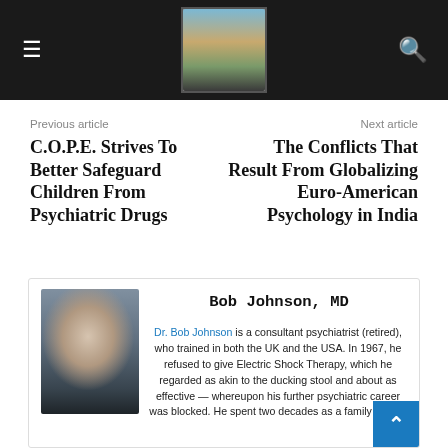Website header with hamburger menu, brain logo, and search icon
Previous article
Next article
C.O.P.E. Strives To Better Safeguard Children From Psychiatric Drugs
The Conflicts That Result From Globalizing Euro-American Psychology in India
Bob Johnson, MD
[Figure (photo): Photo of Dr. Bob Johnson, an older man with grey hair and beard, wearing glasses, speaking on a phone]
Dr. Bob Johnson is a consultant psychiatrist (retired), who trained in both the UK and the USA. In 1967, he refused to give Electric Shock Therapy, which he regarded as akin to the ducking stool and about as effective — whereupon his further psychiatric career was blocked. He spent two decades as a family doctor, then five years as a consultant psychiatrist in Parkhurst Prison. His book